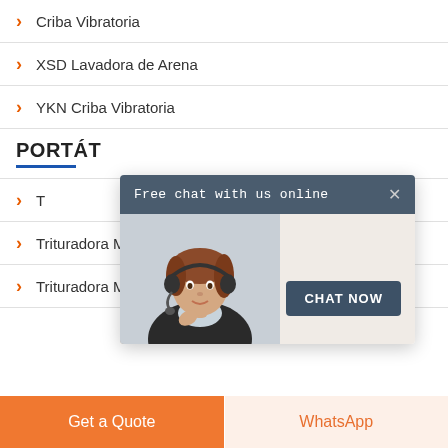Criba Vibratoria
XSD Lavadora de Arena
YKN Criba Vibratoria
PORTÁT
[Figure (screenshot): Live chat popup with header 'Free chat with us online', a close X button, an image of a female customer service agent wearing a headset, and a 'CHAT NOW' button]
T...
Trituradora Móvil de Impacto
Trituradora Móvil de Mandíbula
Get a Quote
WhatsApp